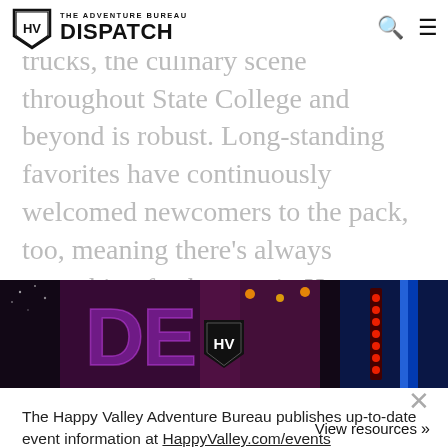THE ADVENTURE BUREAU DISPATCH
From farm-to-table eateries to food trucks, the culinary scene throughout State College and beyond is robust. Long-standing favorites have continuously welcomed newcomers to the pack, too, meaning there's always something fresh to try in Happy Valley, no matter when the last time you paid us a visit.
[Figure (photo): Colorful neon-lit nightlife or entertainment venue signage with red, blue and purple neon lights. An HV shield badge is overlaid in the center.]
The Happy Valley Adventure Bureau publishes up-to-date event information at HappyValley.com/events
View resources »